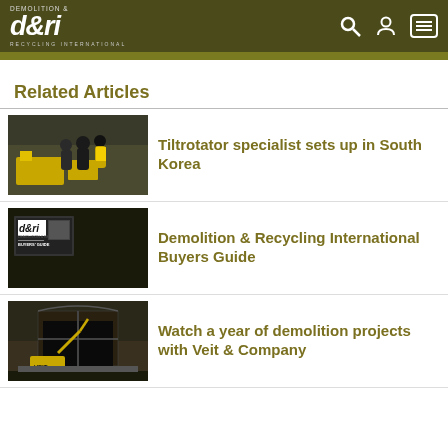D&RI Demolition & Recycling International
Related Articles
[Figure (photo): Workers in yellow and black jackets examining heavy equipment at a trade show or exhibition]
Tiltrotator specialist sets up in South Korea
[Figure (photo): D&RI Buyers Guide magazine cover with demolition equipment and d&ri logo]
Demolition & Recycling International Buyers Guide
[Figure (photo): Yellow excavator demolishing a large building structure at night or dusk]
Watch a year of demolition projects with Veit & Company